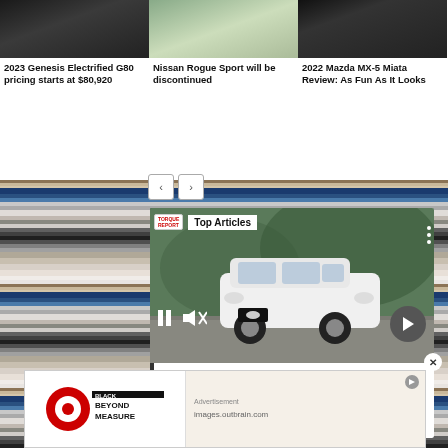[Figure (photo): Dark car (Genesis Electrified G80) photo thumbnail]
2023 Genesis Electrified G80 pricing starts at $80,920
[Figure (photo): White Nissan Rogue Sport photo thumbnail]
Nissan Rogue Sport will be discontinued
[Figure (photo): Dark Mazda MX-5 Miata photo thumbnail]
2022 Mazda MX-5 Miata Review: As Fun As It Looks
[Figure (screenshot): Video overlay panel showing Nissan Rogue Sport with Top Articles label, video playback controls, and article title]
Nissan Rogue Sport will be discontinued - The Torque Report
[Figure (photo): Target Black Beyond Measure advertisement banner]